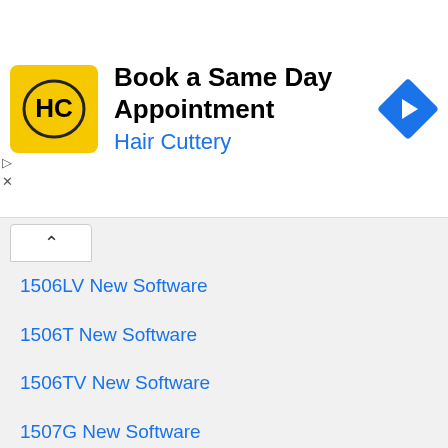[Figure (screenshot): Advertisement banner for Hair Cuttery — 'Book a Same Day Appointment' with logo and blue navigation arrow icon]
1506LV New Software
1506T New Software
1506TV New Software
1507G New Software
Ali3510
Ali3510C New Software
Ali3510D New Software
All China Satellite Receiver Software
All Satellite Strong TP
Amazon Accessories
Blog